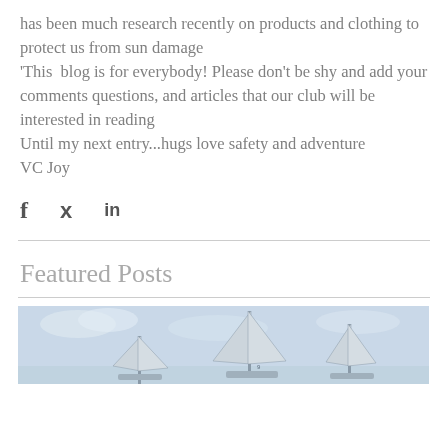has been much research recently on products and clothing to protect us from sun damage
'This  blog is for everybody! Please don't be shy and add your comments questions, and articles that our club will be interested in reading
Until my next entry...hugs love safety and adventure
VC Joy
[Figure (other): Social sharing icons: Facebook (f), Twitter (bird/y), LinkedIn (in)]
Featured Posts
[Figure (photo): Photo of sailboats with tall masts against a cloudy sky]